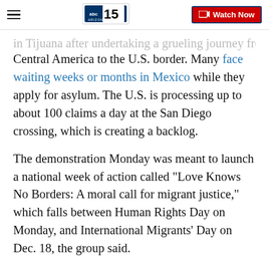abc15 ARIZONA | Watch Now
in Tijuana after undertaking a grueling journey from Central America to the U.S. border. Many face waiting weeks or months in Mexico while they apply for asylum. The U.S. is processing up to about 100 claims a day at the San Diego crossing, which is creating a backlog.
The demonstration Monday was meant to launch a national week of action called "Love Knows No Borders: A moral call for migrant justice," which falls between Human Rights Day on Monday, and International Migrants' Day on Dec. 18, the group said.
"Showing up to welcome and bless children, mothers and fathers seeking asylum from very difficult and